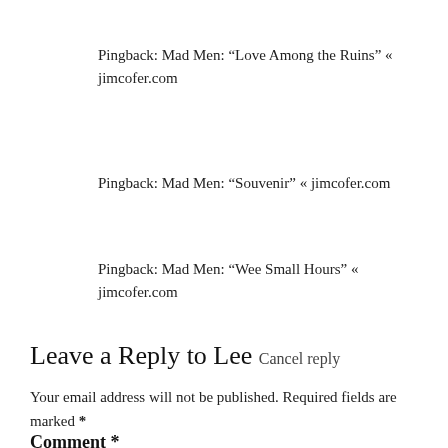Pingback: Mad Men: “Love Among the Ruins” « jimcofer.com
Pingback: Mad Men: “Souvenir” « jimcofer.com
Pingback: Mad Men: “Wee Small Hours” « jimcofer.com
Leave a Reply to Lee Cancel reply
Your email address will not be published. Required fields are marked *
Comment *